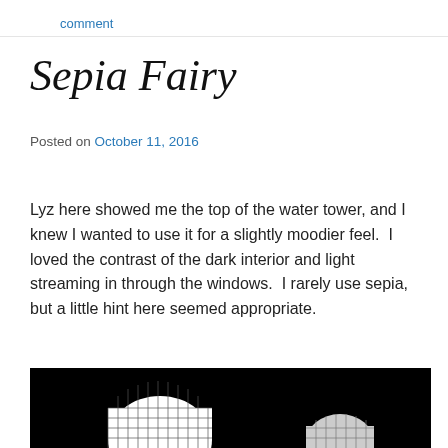comment
Sepia Fairy
Posted on October 11, 2016
Lyz here showed me the top of the water tower, and I knew I wanted to use it for a slightly moodier feel.  I loved the contrast of the dark interior and light streaming in through the windows.  I rarely use sepia, but a little hint here seemed appropriate.
[Figure (photo): Dark interior of a water tower top with arched windows letting in light, showing a grid/mesh pattern on the windows, high contrast black and white with sepia tone.]